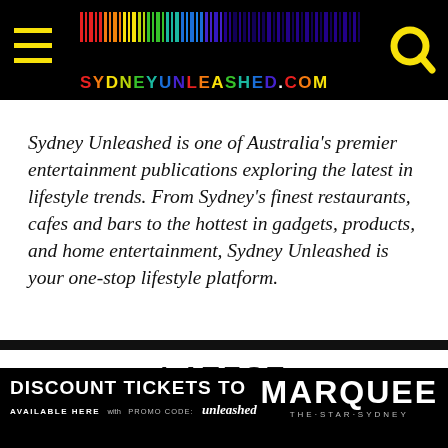[Figure (logo): SydneyUnleashed.com header logo with multicolor barcode graphic, hamburger menu icon (yellow lines), and search icon on black background]
Sydney Unleashed is one of Australia’s premier entertainment publications exploring the latest in lifestyle trends. From Sydney’s finest restaurants, cafes and bars to the hottest in gadgets, products, and home entertainment, Sydney Unleashed is your one-stop lifestyle platform.
LATEST
[Figure (photo): Partially visible image preview below the LATEST section header, bluish/grey tone]
DISCOUNT TICKETS TO MARQUEE AVAILABLE HERE with PROMO CODE: unleashed THE·STAR·SYDNEY